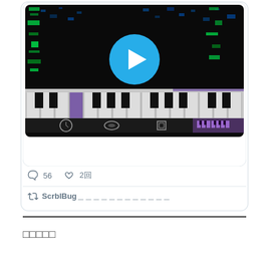[Figure (screenshot): Screenshot of a social media post showing a piano roll / music app interface with a play button overlay, piano keys visible at the bottom, and app control icons. Below the image are comment (56) and like (2回) counts, and a retweet by ScrblBug＿＿＿＿＿＿＿＿＿＿＿＿]
□□□□□